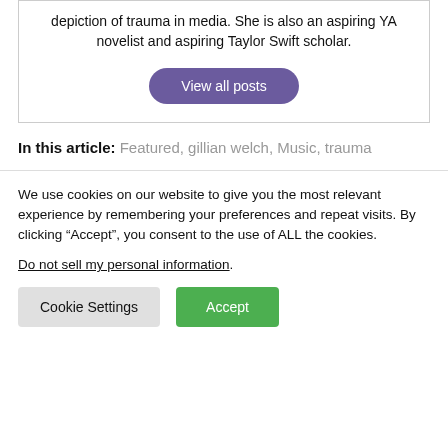depiction of trauma in media. She is also an aspiring YA novelist and aspiring Taylor Swift scholar.
View all posts
In this article: Featured, gillian welch, Music, trauma
We use cookies on our website to give you the most relevant experience by remembering your preferences and repeat visits. By clicking “Accept”, you consent to the use of ALL the cookies.
Do not sell my personal information.
Cookie Settings
Accept